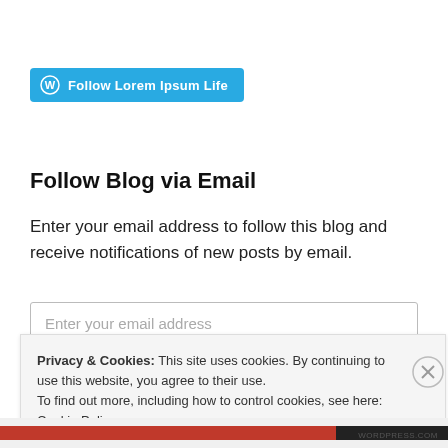[Figure (other): WordPress Follow button — blue pill-shaped button with WordPress logo icon and text 'Follow Lorem Ipsum Life']
Follow Blog via Email
Enter your email address to follow this blog and receive notifications of new posts by email.
Enter your email address (input field placeholder)
Privacy & Cookies: This site uses cookies. By continuing to use this website, you agree to their use.
To find out more, including how to control cookies, see here: Cookie Policy
Close and accept